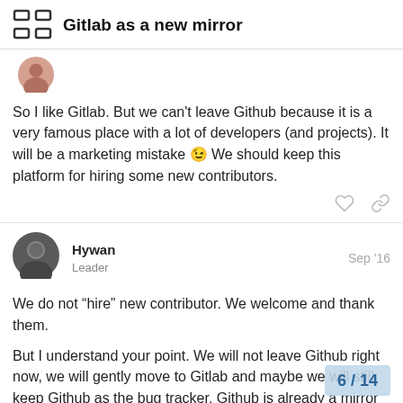Gitlab as a new mirror
[Figure (illustration): Small circular avatar image of a user (partially visible at top)]
So I like Gitlab. But we can't leave Github because it is a very famous place with a lot of developers (and projects). It will be a marketing mistake 😉 We should keep this platform for hiring some new contributors.
Hywan  Leader  Sep '16
[Figure (photo): Circular avatar photo of user Hywan]
We do not “hire” new contributor. We welcome and thank them.
But I understand your point. We will not leave Github right now, we will gently move to Gitlab and maybe we will still keep Github as the bug tracker. Github is already a mirror and not the origin remote, and no one did notice it so far :)
And to be frank, while I love the efforts ma
6 / 14